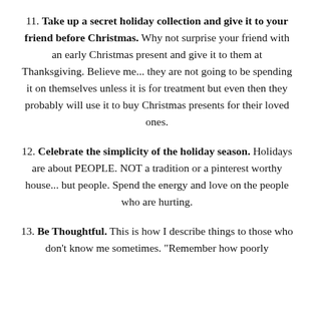11. Take up a secret holiday collection and give it to your friend before Christmas. Why not surprise your friend with an early Christmas present and give it to them at Thanksgiving. Believe me... they are not going to be spending it on themselves unless it is for treatment but even then they probably will use it to buy Christmas presents for their loved ones.
12. Celebrate the simplicity of the holiday season. Holidays are about PEOPLE. NOT a tradition or a pinterest worthy house... but people. Spend the energy and love on the people who are hurting.
13. Be Thoughtful. This is how I describe things to those who don't know me sometimes. "Remember how poorly